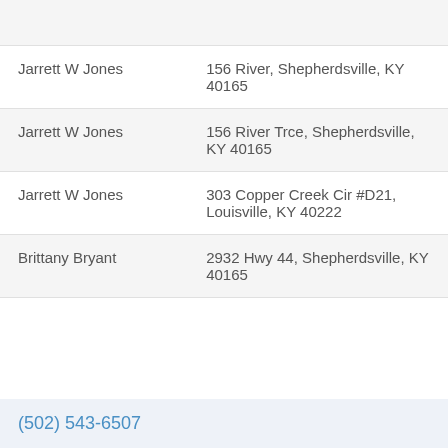| Name | Address |
| --- | --- |
|  |  |
| Jarrett W Jones | 156 River, Shepherdsville, KY 40165 |
| Jarrett W Jones | 156 River Trce, Shepherdsville, KY 40165 |
| Jarrett W Jones | 303 Copper Creek Cir #D21, Louisville, KY 40222 |
| Brittany Bryant | 2932 Hwy 44, Shepherdsville, KY 40165 |
(502) 543-6507